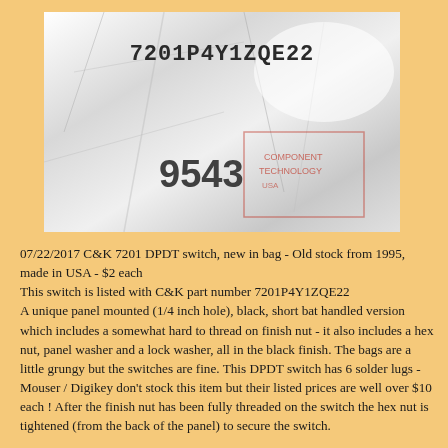[Figure (photo): Photo of a crinkled white plastic bag with printed lot/part number '7201P4Y1ZQE22' at top and '9543' printed in large digits at lower left. Red printed markings visible on the bag.]
07/22/2017 C&K 7201 DPDT switch, new in bag - Old stock from 1995, made in USA - $2 each
This switch is listed with C&K part number 7201P4Y1ZQE22
A unique panel mounted (1/4 inch hole), black, short bat handled version which includes a somewhat hard to thread on finish nut - it also includes a hex nut, panel washer and a lock washer, all in the black finish. The bags are a little grungy but the switches are fine. This DPDT switch has 6 solder lugs - Mouser / Digikey don't stock this item but their listed prices are well over $10 each ! After the finish nut has been fully threaded on the switch the hex nut is tightened (from the back of the panel) to secure the switch.